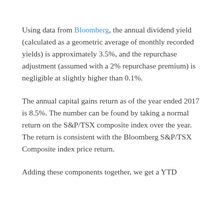Using data from Bloomberg, the annual dividend yield (calculated as a geometric average of monthly recorded yields) is approximately 3.5%, and the repurchase adjustment (assumed with a 2% repurchase premium) is negligible at slightly higher than 0.1%.
The annual capital gains return as of the year ended 2017 is 8.5%. The number can be found by taking a normal return on the S&P/TSX composite index over the year. The return is consistent with the Bloomberg S&P/TSX Composite index price return.
Adding these components together, we get a YTD